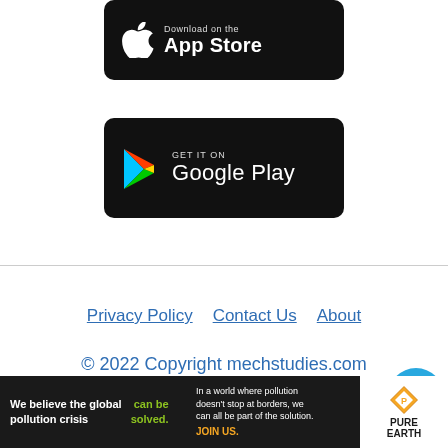[Figure (logo): Download on the App Store button (black rounded rectangle with Apple logo)]
[Figure (logo): Get it on Google Play button (black rounded rectangle with Google Play logo and text)]
Privacy Policy   Contact Us   About

© 2022 Copyright mechstudies.com
[Figure (screenshot): Join us in Telegram banner with Telegram icon]
[Figure (photo): Pure Earth advertisement: We believe the global pollution crisis can be solved. In a world where pollution doesn't stop at borders, we can all be part of the solution. JOIN US.]